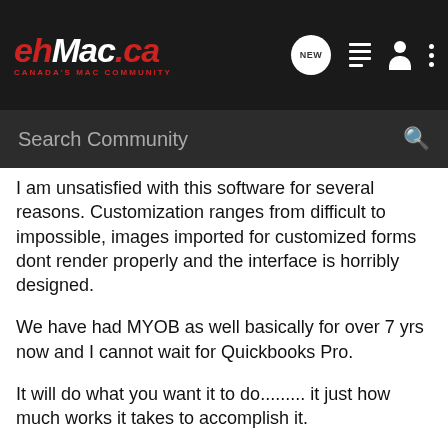[Figure (screenshot): ehMac.ca Canada's Mac Community website header with logo, navigation icons (NEW bubble, list, person, dots menu), and a dark Search Community search bar.]
I am unsatisfied with this software for several reasons. Customization ranges from difficult to impossible, images imported for customized forms dont render properly and the interface is horribly designed.
We have had MYOB as well basically for over 7 yrs now and I cannot wait for Quickbooks Pro.
It will do what you want it to do......... it just how much works it takes to accomplish it.
IE:
how to change the custom form?
after searching for close to an hour I realize that you have to press print! then access the customization field from the print